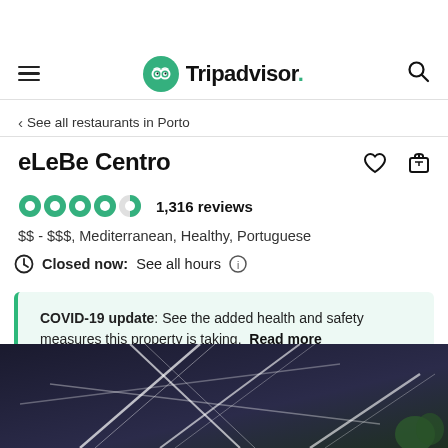Tripadvisor navigation bar
< See all restaurants in Porto
eLeBe Centro
1,316 reviews
$$ - $$$, Mediterranean, Healthy, Portuguese
Closed now:  See all hours
COVID-19 update: See the added health and safety measures this property is taking. Read more
[Figure (photo): Interior photo of eLeBe Centro restaurant showing geometric ceiling lights against a dark background]